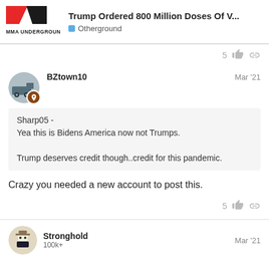Trump Ordered 800 Million Doses Of V... | Otherground
5
BZtown10  Mar '21
Sharp05 -
Yea this is Bidens America now not Trumps.

Trump deserves credit though..credit for this pandemic.
Crazy you needed a new account to post this.
5
Stronghold  100k+  Mar '21